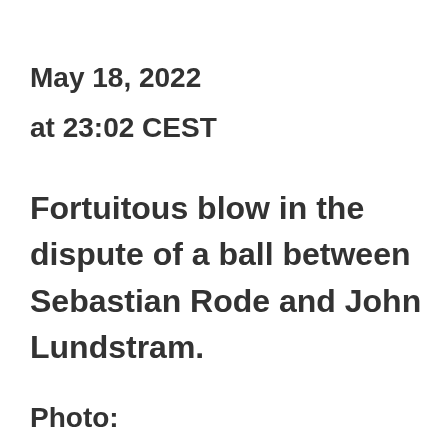May 18, 2022
at 23:02 CEST
Fortuitous blow in the dispute of a ball between Sebastian Rode and John Lundstram.
Photo: